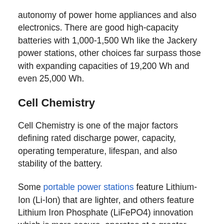autonomy of power home appliances and also electronics. There are good high-capacity batteries with 1,000-1,500 Wh like the Jackery power stations, other choices far surpass those with expanding capacities of 19,200 Wh and even 25,000 Wh.
Cell Chemistry
Cell Chemistry is one of the major factors defining rated discharge power, capacity, operating temperature, lifespan, and also stability of the battery.
Some portable power stations feature Lithium-Ion (Li-Ion) that are lighter, and others feature Lithium Iron Phosphate (LiFePO4) innovation which is more secure, operates at a greater